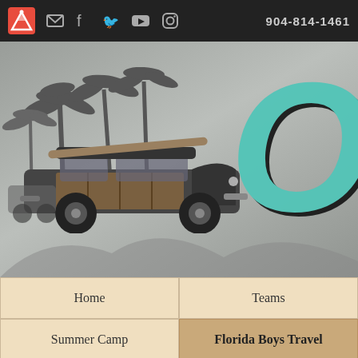904-814-1461
[Figure (illustration): Hero banner with vintage woody wagon car, palm trees, surfboard, gray tonal illustration on gray background with large teal italic letter O]
Home
Teams
Summer Camp
Florida Boys Travel
[Figure (logo): Ohana logo — teal Florida state outline with gun shape on tan/gold background, OHANA text below]
High School Teams Fall
Close ×